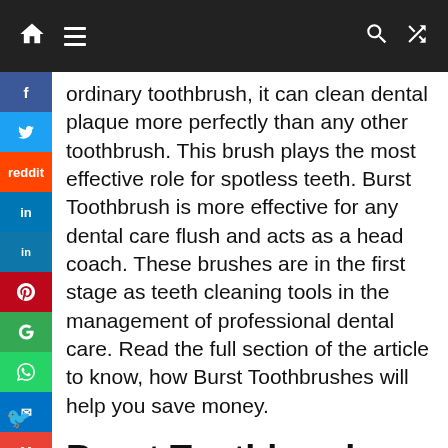Navigation bar with home, menu, search, and shuffle icons
ordinary toothbrush, it can clean dental plaque more perfectly than any other toothbrush. This brush plays the most effective role for spotless teeth. Burst Toothbrush is more effective for any dental care flush and acts as a head coach. These brushes are in the first stage as teeth cleaning tools in the management of professional dental care. Read the full section of the article to know, how Burst Toothbrushes will help you save money.
Burst Toothbrush Promo Code benefit
Burst Toothbrush is an electric-powered more